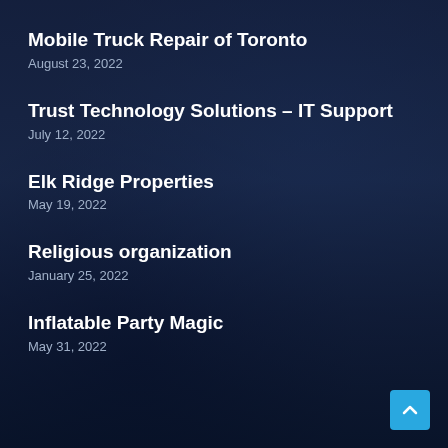Mobile Truck Repair of Toronto
August 23, 2022
Trust Technology Solutions – IT Support
July 12, 2022
Elk Ridge Properties
May 19, 2022
Religious organization
January 25, 2022
Inflatable Party Magic
May 31, 2022